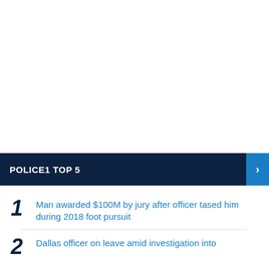POLICE1 TOP 5
Man awarded $100M by jury after officer tased him during 2018 foot pursuit
Dallas officer on leave amid investigation into